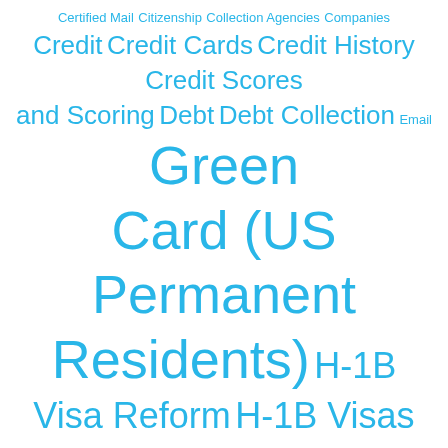[Figure (infographic): Tag cloud of topics related to immigration, mail, legal issues, personal finance, and US citizenship services, all rendered in cyan/blue text of varying sizes indicating topic frequency/importance.]